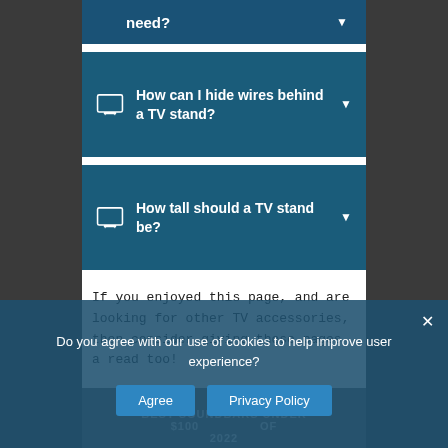need?
How can I hide wires behind a TV stand?
How tall should a TV stand be?
If you enjoyed this page, and are looking for other TV accessories, then consider giving these pages a read too!
[Figure (photo): Partial image of soundbar product with text overlay reading 'BEST SOUNDBARS UNDER $100 ... OF 2022']
Do you agree with our use of cookies to help improve user experience?